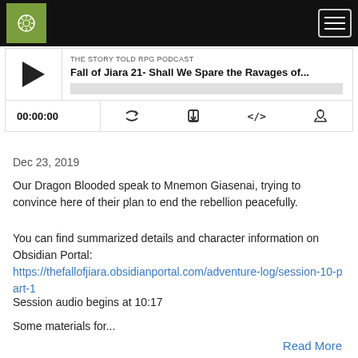[Figure (screenshot): Navigation bar with green logo and hamburger menu on black background]
[Figure (screenshot): Podcast audio player widget showing episode 'Fall of Jiara 21- Shall We Spare the Ravages of...' with play button, progress bar, time display 00:00:00, and control icons]
Dec 23, 2019
Our Dragon Blooded speak to Mnemon Giasenai, trying to convince here of their plan to end the rebellion peacefully.
You can find summarized details and character information on Obsidian Portal:
https://thefallofjiara.obsidianportal.com/adventure-log/session-10-part-1
Session audio begins at 10:17
Some materials for...
Read More